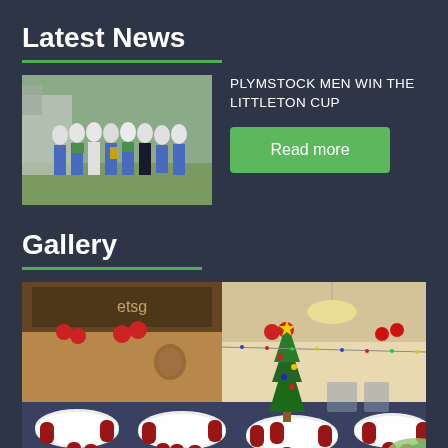Latest News
[Figure (photo): Group of lawn bowls players in white uniforms standing together outdoors, holding a trophy]
PLYMSTOCK MEN WIN THE LITTLETON CUP
Read more
Gallery
[Figure (photo): Indoor club room decorated for Christmas with red chairs, round tables with white tablecloths, a Christmas tree, and red balloon decorations]